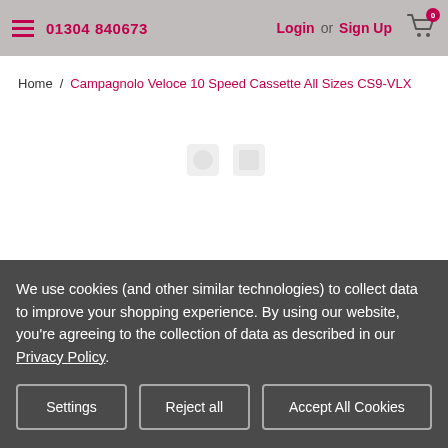01304 840673  Login or Sign Up  0
Home / Campagnolo Veloce 10 Speed Cassette All Sizes CS9-VLX
We use cookies (and other similar technologies) to collect data to improve your shopping experience. By using our website, you're agreeing to the collection of data as described in our Privacy Policy.
Settings  Reject all  Accept All Cookies